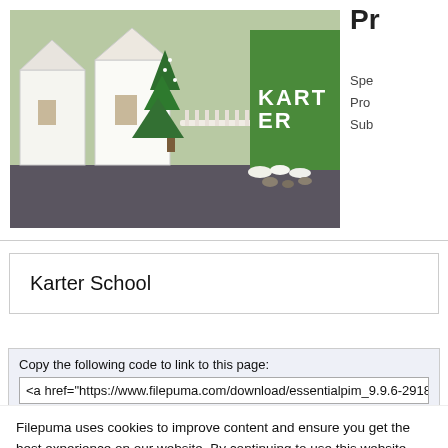[Figure (photo): A decorated indoor/outdoor area showing small white house structures, a Christmas tree, a staircase railing, and a floral display spelling KARTER in white letters on a green hedge wall.]
Pr
Spe
Pro
Sub
Karter School
Copy the following code to link to this page:
<a href="https://www.filepuma.com/download/essentialpim_9.9.6-2918
Copy
Filepuma uses cookies to improve content and ensure you get the best experience on our website. By continuing to use this website, you agree to our privacy policy.
ACCEPT